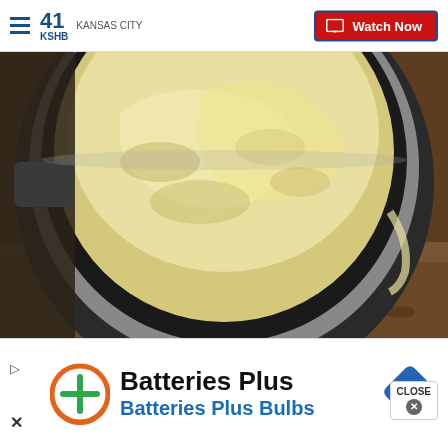41 KSHB KANSAS CITY — Watch Now
[Figure (photo): Close-up overhead view of mashed potatoes inside a round pot or bowl (Ninja Creami appliance), sitting on a granite countertop]
Clint Davis/Simplemost
Finally, I made a milkshake using the Ninja Cream…
[Figure (infographic): Advertisement for Batteries Plus / Batteries Plus Bulbs with orange circular logo and blue diamond navigation icon, plus play and close controls]